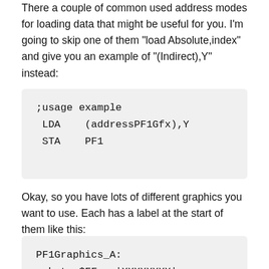There a couple of common used address modes for loading data that might be useful for you. I'm going to skip one of them "load Absolute,index" and give you an example of "(Indirect),Y" instead:
;usage example
 LDA    (addressPF1Gfx),Y
 STA    PF1
Okay, so you have lots of different graphics you want to use. Each has a label at the start of them like this:
PF1Graphics_A:
 .byte $FF ; |XXXXXXXX|